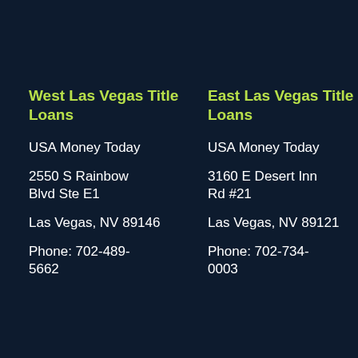West Las Vegas Title Loans
USA Money Today
2550 S Rainbow Blvd Ste E1
Las Vegas, NV 89146
Phone: 702-489-5662
East Las Vegas Title Loans
USA Money Today
3160 E Desert Inn Rd #21
Las Vegas, NV 89121
Phone: 702-734-0003